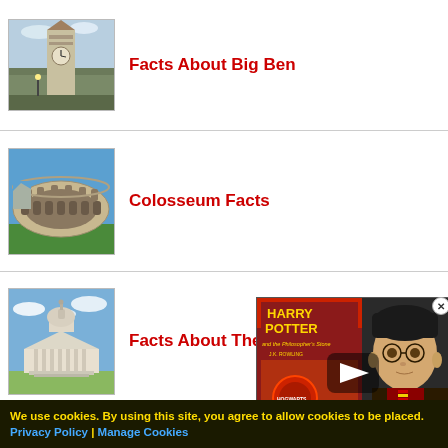[Figure (photo): Photo of Big Ben clock tower, London]
Facts About Big Ben
[Figure (photo): Photo of the Colosseum in Rome]
Colosseum Facts
[Figure (photo): Photo of the US Capitol building]
Facts About The Capitol
[Figure (photo): Harry Potter and the Philosopher's Stone book cover with Harry Potter character, video thumbnail with play button]
We use cookies. By using this site, you agree to allow cookies to be placed. Privacy Policy | Manage Cookies